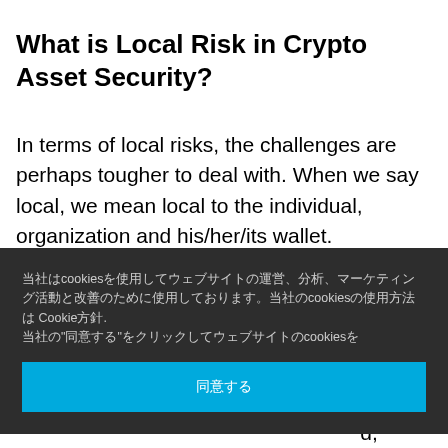What is Local Risk in Crypto Asset Security?
In terms of local risks, the challenges are perhaps tougher to deal with. When we say local, we mean local to the individual, organization and his/her/its wallet. In this regard we have three main categories of
[Figure (screenshot): Cookie consent overlay in dark background with Japanese text about cookies and a blue accept button with Japanese characters.]
malicious theft or negligent loss of funds